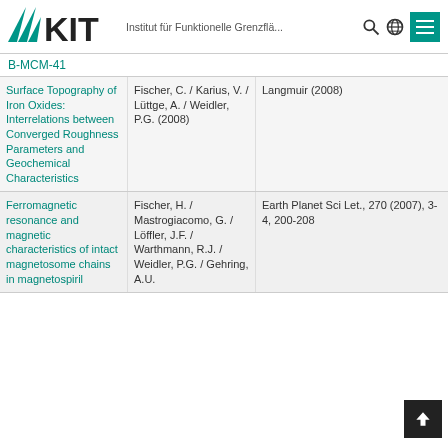KIT — Institut für Funktionelle Grenzflä...
B-MCM-41
| Title | Authors | Journal |
| --- | --- | --- |
| Surface Topography of Iron Oxides: Interrelations between Converged Roughness Parameters and Geochemical Characteristics | Fischer, C. / Karius, V. / Lüttge, A. / Weidler, P.G. (2008) | Langmuir (2008) |
| Ferromagnetic resonance and magnetic characteristics of intact magnetosome chains in magnetospiril | Fischer, H. / Mastrogiacomo, G. / Löffler, J.F. / Warthmann, R.J. / Weidler, P.G. / Gehring, A.U. | Earth Planet Sci Let., 270 (2007), 3-4, 200-208 |